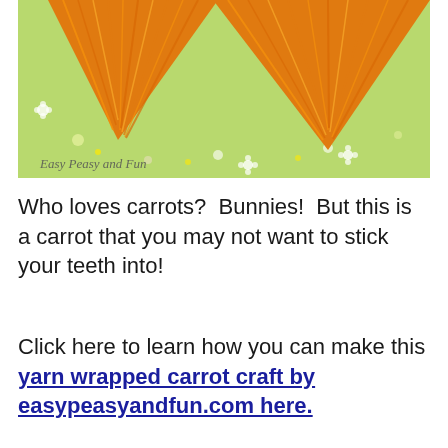[Figure (photo): Photo of orange yarn-wrapped carrot crafts on a green floral patterned background, with watermark text 'Easy Peasy and Fun' in the lower left.]
Who loves carrots?  Bunnies!  But this is a carrot that you may not want to stick your teeth into!
Click here to learn how you can make this yarn wrapped carrot craft by easypeasyandfun.com here.